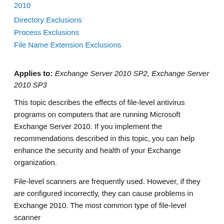2010
Directory Exclusions
Process Exclusions
File Name Extension Exclusions
Applies to: Exchange Server 2010 SP2, Exchange Server 2010 SP3
This topic describes the effects of file-level antivirus programs on computers that are running Microsoft Exchange Server 2010. If you implement the recommendations described in this topic, you can help enhance the security and health of your Exchange organization.
File-level scanners are frequently used. However, if they are configured incorrectly, they can cause problems in Exchange 2010. The most common type of file-level scanner